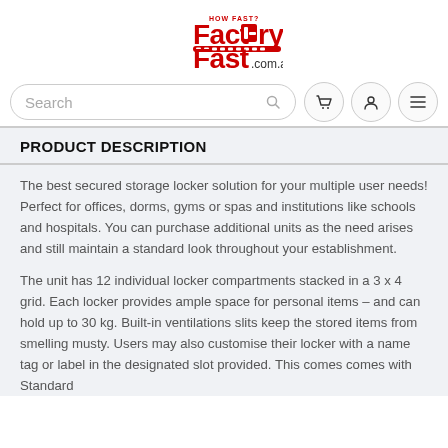[Figure (logo): FactoryFast.com.au logo in red and black]
Search
PRODUCT DESCRIPTION
The best secured storage locker solution for your multiple user needs! Perfect for offices, dorms, gyms or spas and institutions like schools and hospitals. You can purchase additional units as the need arises and still maintain a standard look throughout your establishment.
The unit has 12 individual locker compartments stacked in a 3 x 4 grid. Each locker provides ample space for personal items – and can hold up to 30 kg. Built-in ventilations slits keep the stored items from smelling musty. Users may also customise their locker with a name tag or label in the designated slot provided. This comes comes with Standard